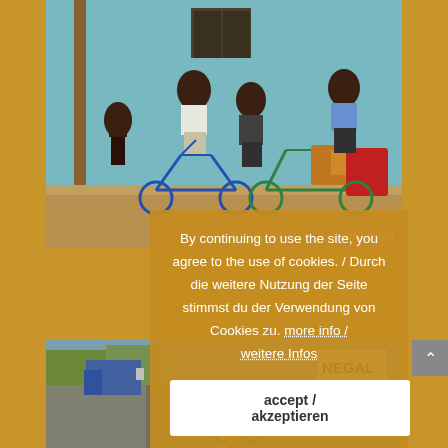[Figure (photo): Photo of African children standing with bicycles against a turquoise/blue wall. One child is on a blue bicycle, another stands next to a loaded touring bicycle with red panniers. A watermark reads 'bushbikegirl' in the bottom right.]
By continuing to use the site, you agree to the use of cookies. / Durch die weitere Nutzung der Seite stimmst du der Verwendung von Cookies zu. more info / weitere Infos
accept / akzeptieren
[Figure (photo): Photo of a road scene in Senegal. A person with a loaded bicycle is visible, along with a road sign partially visible reading 'AL' (part of SENEGAL). A blue truck and green trees are visible in the background.]